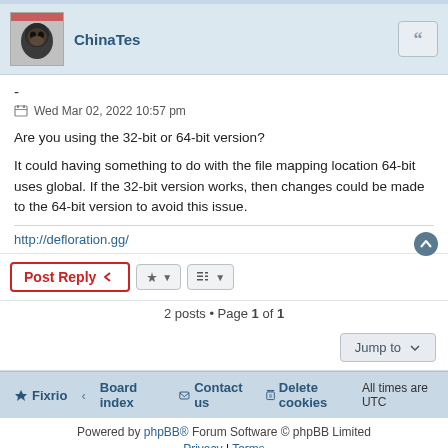ChinaTes
-
Wed Mar 02, 2022 10:57 pm
Are you using the 32-bit or 64-bit version?
It could having something to do with the file mapping location 64-bit uses global. If the 32-bit version works, then changes could be made to the 64-bit version to avoid this issue.
http://defloration.gg/
Post Reply
2 posts • Page 1 of 1
Jump to
Fixrio ‹ Board index   Contact us   Delete cookies   All times are UTC
Powered by phpBB® Forum Software © phpBB Limited
Privacy | Terms